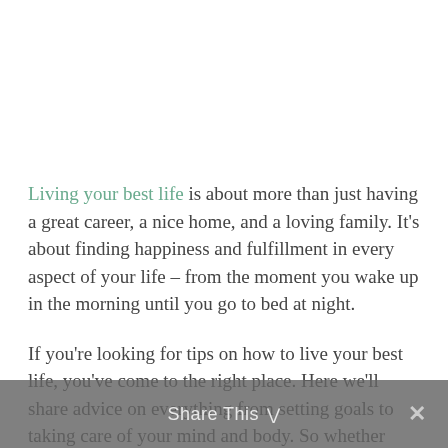Living your best life is about more than just having a great career, a nice home, and a loving family. It's about finding happiness and fulfillment in every aspect of your life – from the moment you wake up in the morning until you go to bed at night.
If you're looking for tips on how to live your best life, you've come to the right place. Here we'll share advice on everything from setting goals to taking care of your mind and body. So whether you're just starting out on your journey or you're looking for ways to improve your current situation, read on for some helpful advice.
Share This ∨